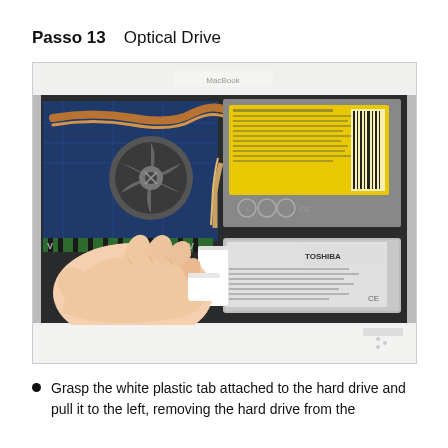Passo 13    Optical Drive
[Figure (photo): Inside view of a MacBook laptop showing the optical drive with a yellow label, a cooling fan, RAM modules, hard drive (Toshiba), and a hand grasping a white plastic tab attached to the hard drive to pull it to the left.]
Grasp the white plastic tab attached to the hard drive and pull it to the left, removing the hard drive from the